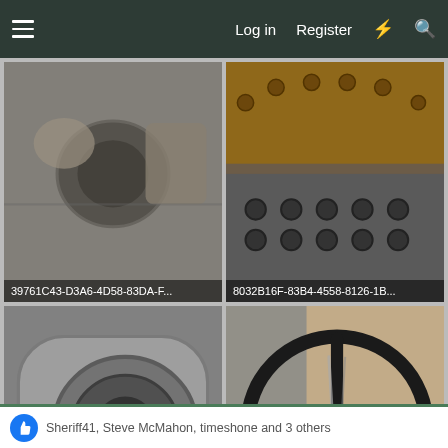Log in  Register
[Figure (photo): Auto part - metal component with circular opening, ID: 39761C43-D3A6-4D58-83DA-F...]
[Figure (photo): Engine cylinder head with visible rust, ID: 8032B16F-83B4-4558-8126-1B...]
[Figure (photo): Metal engine/transmission part with circular recess, ID: 5BB103E3-6FA3-421B-BD28-66...]
[Figure (photo): Black 3-spoke steering wheel, ID: FD5071B3-EC8C-4F2D-AB44-D...]
Reply
Sheriff41, Steve McMahon, timeshone and 3 others